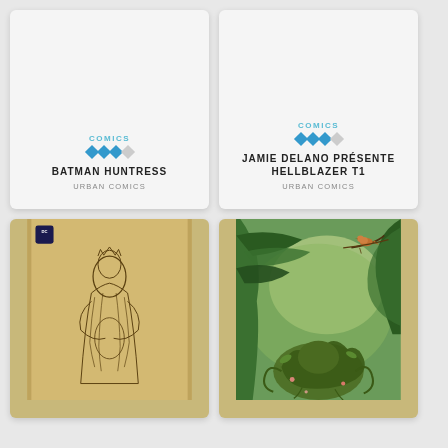[Figure (illustration): Comic book card for Batman Huntress with COMICS label, 3 blue diamonds and 1 grey diamond rating, title BATMAN HUNTRESS, publisher URBAN COMICS on grey card background]
[Figure (illustration): Comic book card for Jamie Delano Présente Hellblazer T1 with COMICS label, 3 blue diamonds and 1 grey diamond rating, title JAMIE DELANO PRÉSENTE HELLBLAZER T1, publisher URBAN COMICS on grey card background]
[Figure (illustration): Comic book cover art showing a figure in robes holding another figure, drawn in black ink on aged yellow/beige paper with DC Comics logo]
[Figure (illustration): Comic book cover art showing a nature scene with a bird perched on a branch, rich green forest background with a creature or figure made of earth/plant matter below]